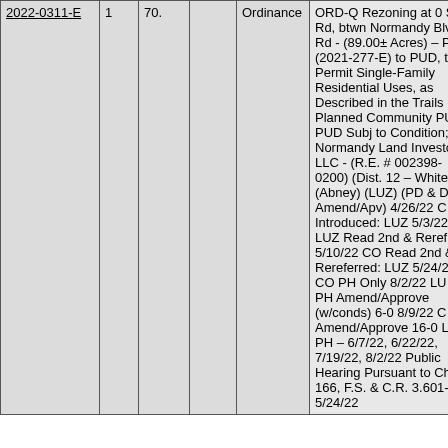| Case ID | Col2 | Col3 | Col4 | Type | Description |
| --- | --- | --- | --- | --- | --- |
| 2022-0311-E | 1 | 70. |  | Ordinance | ORD-Q Rezoning at 0 Solomon Rd, btwn Normandy Blvd & Solomon Rd - (89.00± Acres) – PUD (2021-277-E) to PUD, to Permit Single-Family Residential Uses, as Described in the Trails Planned Community PUD PUD Subj to Conditions; Normandy Land Investors LLC - (R.E. # 002398-0200) (Dist. 12 – White) (Abney) (LUZ) (PD & D Amend/Apv) 4/26/22 CO Introduced: LUZ 5/3/22 LUZ Read 2nd & Rereferred: 5/10/22 CO Read 2nd & Rereferred: LUZ 5/24/22 CO PH Only 8/2/22 LUZ PH Amend/Approve (w/conds) 6-0 8/9/22 CO Amend/Approve 16-0 LUZ PH – 6/7/22, 6/22/22, 7/19/22, 8/2/22 Public Hearing Pursuant to Ch. 166, F.S. & C.R. 3.601- 5/24/22 |